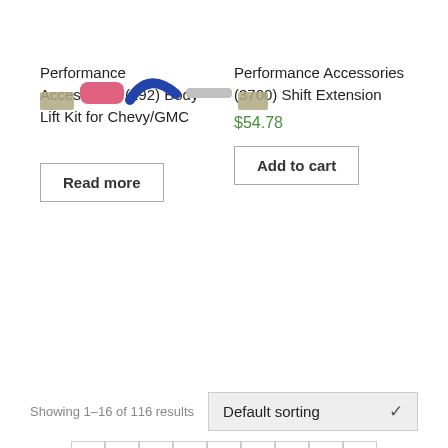[Figure (photo): Product images: kit parts (tubes, hardware) for two products shown at top]
Performance Accessories (192) Body Lift Kit for Chevy/GMC
Performance Accessories (3700) Shift Extension
$54.78
Read more
Add to cart
Showing 1–16 of 116 results
Default sorting
1
2
3
4
...
6
7
8
→
© 1998-2022 MY4BY.com